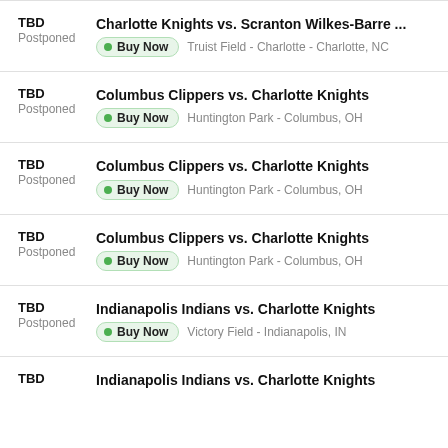TBD | Postponed | Charlotte Knights vs. Scranton Wilkes-Barre ... | Buy Now | Truist Field - Charlotte - Charlotte, NC
TBD | Postponed | Columbus Clippers vs. Charlotte Knights | Buy Now | Huntington Park - Columbus, OH
TBD | Postponed | Columbus Clippers vs. Charlotte Knights | Buy Now | Huntington Park - Columbus, OH
TBD | Postponed | Columbus Clippers vs. Charlotte Knights | Buy Now | Huntington Park - Columbus, OH
TBD | Postponed | Indianapolis Indians vs. Charlotte Knights | Buy Now | Victory Field - Indianapolis, IN
TBD | Indianapolis Indians vs. Charlotte Knights (partial)